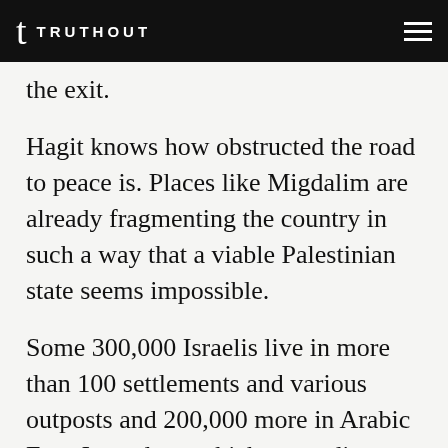TRUTHOUT
the exit.
Hagit knows how obstructed the road to peace is. Places like Migdalim are already fragmenting the country in such a way that a viable Palestinian state seems impossible.
Some 300,000 Israelis live in more than 100 settlements and various outposts and 200,000 more in Arabic East-Jersualem, which, according to international law, is also Palestinian territory.
In addition, the numbers show that about 1 f...